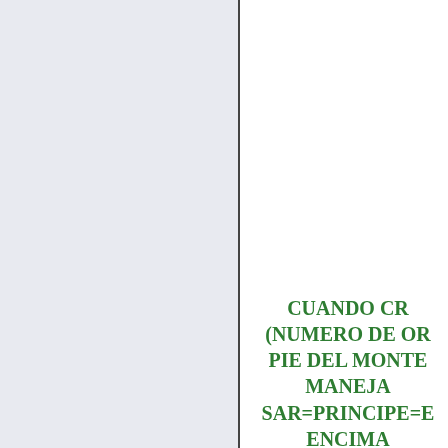[Figure (other): Left panel with light blue-grey background, separated from right panel by a vertical dark line divider.]
CUANDO CR (NUMERO DE OR PIE DEL MONTE MANEJA
SAR=PRINCIPE=E ENCIMA